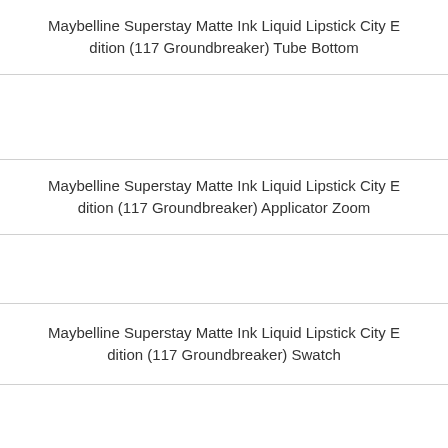Maybelline Superstay Matte Ink Liquid Lipstick City Edition (117 Groundbreaker) Tube Bottom
[Figure (photo): Empty image placeholder row]
Maybelline Superstay Matte Ink Liquid Lipstick City Edition (117 Groundbreaker) Applicator Zoom
[Figure (photo): Empty image placeholder row]
Maybelline Superstay Matte Ink Liquid Lipstick City Edition (117 Groundbreaker) Swatch
[Figure (photo): Empty image placeholder row at bottom]